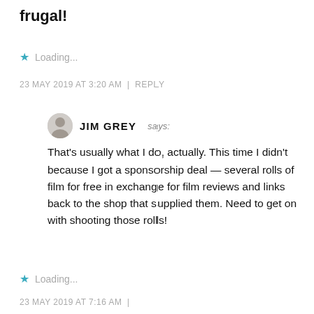frugal!
★ Loading...
23 MAY 2019 AT 3:20 AM | REPLY
JIM GREY says:
That's usually what I do, actually. This time I didn't because I got a sponsorship deal — several rolls of film for free in exchange for film reviews and links back to the shop that supplied them. Need to get on with shooting those rolls!
★ Loading...
23 MAY 2019 AT 7:16 AM |